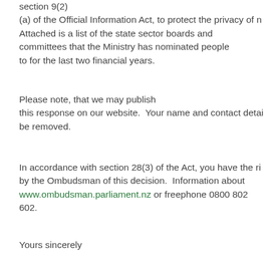section 9(2)
(a) of the Official Information Act, to protect the privacy of n...
Attached is a list of the state sector boards and committees that the Ministry has nominated people to for the last two financial years.
Please note, that we may publish this response on our website.  Your name and contact detai... be removed.
In accordance with section 28(3) of the Act, you have the ri... by the Ombudsman of this decision.  Information about www.ombudsman.parliament.nz or freephone 0800 802 602.
Yours sincerely